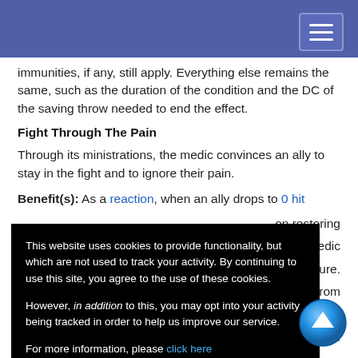immunities, if any, still apply. Everything else remains the same, such as the duration of the condition and the DC of the saving throw needed to end the effect.
Fight Through The Pain
Through its ministrations, the medic convinces an ally to stay in the fight and to ignore their pain.
Benefit(s): As a reaction, when an ally drops to 0 hit [points, the medic may spend an action focused] on restoring [them. The ally does not fall unconscious. The medic] [must expend a use of a feature that enables this feature.]
[...] patient from [...]
[...] melee weap[on] [...] ption.
Benefit(s): While administering any form of healing or
This website uses cookies to provide functionality, but which are not used to track your activity. By continuing to use this site, you agree to the use of these cookies.

However, in addition to this, you may opt into your activity being tracked in order to help us improve our service.

For more information, please click here
OK | No, thank you